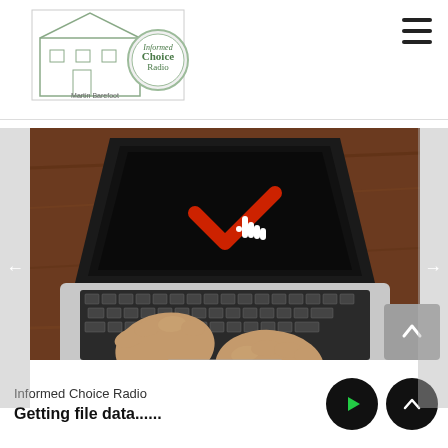[Figure (logo): Informed Choice Radio logo with house illustration and circular badge]
[Figure (photo): Top-down view of a person typing on a MacBook laptop on a wood table; the laptop screen shows a red checkmark with a cursor icon]
Informed Choice Radio
Getting file data......